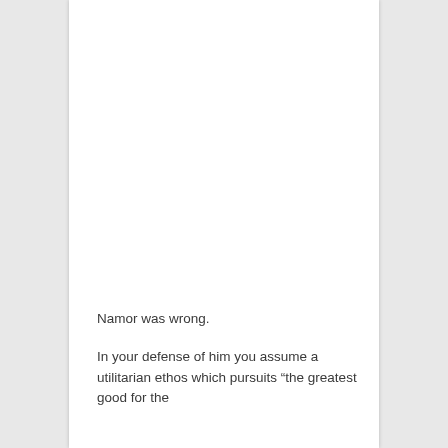Namor was wrong.
In your defense of him you assume a utilitarian ethos which pursuits “the greatest good for the